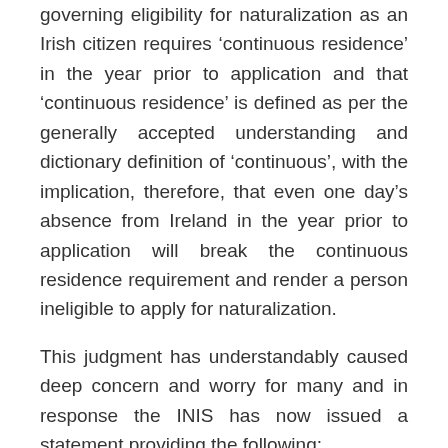governing eligibility for naturalization as an Irish citizen requires 'continuous residence' in the year prior to application and that 'continuous residence' is defined as per the generally accepted understanding and dictionary definition of 'continuous', with the implication, therefore, that even one day's absence from Ireland in the year prior to application will break the continuous residence requirement and render a person ineligible to apply for naturalization.
This judgment has understandably caused deep concern and worry for many and in response the INIS has now issued a statement providing the following:
“We are aware that the judgment in this case has